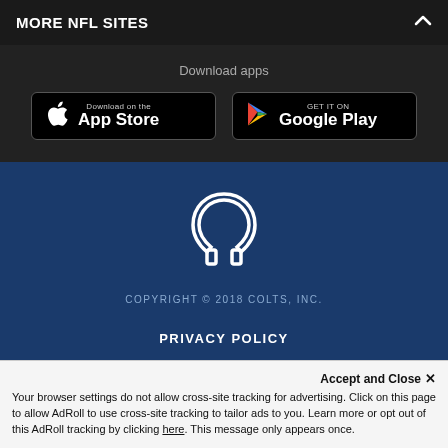MORE NFL SITES
Download apps
[Figure (screenshot): App Store download button with Apple logo]
[Figure (screenshot): Google Play download button with Play logo]
[Figure (logo): Indianapolis Colts horseshoe logo in white outline]
COPYRIGHT © 2018 COLTS, INC.
PRIVACY POLICY
ACCESSIBILITY
CONTACT US
Accept and Close ✕
Your browser settings do not allow cross-site tracking for advertising. Click on this page to allow AdRoll to use cross-site tracking to tailor ads to you. Learn more or opt out of this AdRoll tracking by clicking here. This message only appears once.